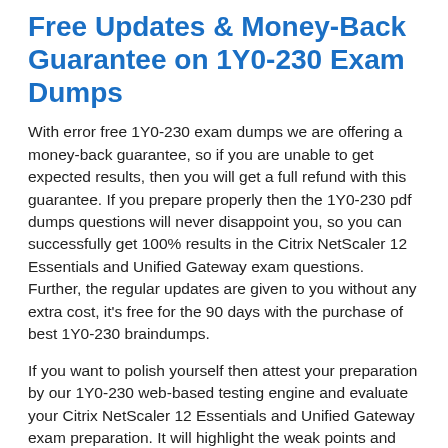Free Updates & Money-Back Guarantee on 1Y0-230 Exam Dumps
With error free 1Y0-230 exam dumps we are offering a money-back guarantee, so if you are unable to get expected results, then you will get a full refund with this guarantee. If you prepare properly then the 1Y0-230 pdf dumps questions will never disappoint you, so you can successfully get 100% results in the Citrix NetScaler 12 Essentials and Unified Gateway exam questions. Further, the regular updates are given to you without any extra cost, it's free for the 90 days with the purchase of best 1Y0-230 braindumps.
If you want to polish yourself then attest your preparation by our 1Y0-230 web-based testing engine and evaluate your Citrix NetScaler 12 Essentials and Unified Gateway exam preparation. It will highlight the weak points and work more on them by practicing with